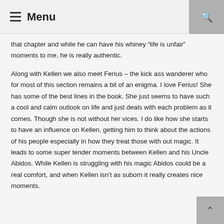Menu
that chapter and while he can have his whiney “life is unfair” moments to me, he is really authentic.
Along with Kellen we also meet Ferius – the kick ass wanderer who for most of this section remains a bit of an enigma. I love Ferius! She has some of the best lines in the book. She just seems to have such a cool and calm outlook on life and just deals with each problem as it comes. Though she is not without her vices. I do like how she starts to have an influence on Kellen, getting him to think about the actions of his people especially in how they treat those with out magic. It leads to some super tender moments between Kellen and his Uncle Abidos. While Kellen is struggling with his magic Abidos could be a real comfort, and when Kellen isn’t as suborn it really creates nice moments.